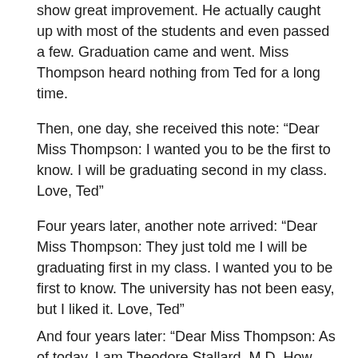show great improvement. He actually caught up with most of the students and even passed a few. Graduation came and went. Miss Thompson heard nothing from Ted for a long time.
Then, one day, she received this note: “Dear Miss Thompson: I wanted you to be the first to know. I will be graduating second in my class. Love, Ted”
Four years later, another note arrived: “Dear Miss Thompson: They just told me I will be graduating first in my class. I wanted you to be first to know. The university has not been easy, but I liked it. Love, Ted”
And four years later: “Dear Miss Thompson: As of today, I am Theodore Stallard, M.D. How about that? I wanted you to be the first to know. I am getting married next month, the 27th to be exact. I want you to come and sit where my mother would sit if she were alive.